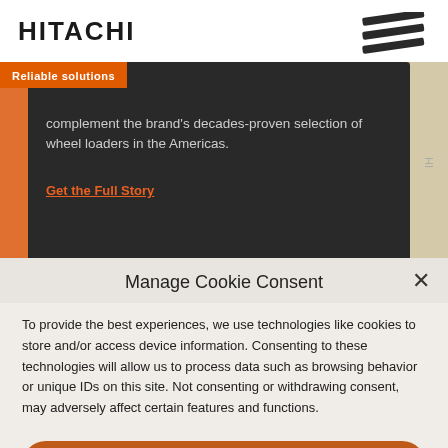[Figure (logo): Hitachi logo top left with bold black text 'HITACHI' and slash mark logo top right]
Reliable solutions
complement the brand's decades-proven selection of wheel loaders in the Americas.
Get the Full Story
Manage Cookie Consent
To provide the best experiences, we use technologies like cookies to store and/or access device information. Consenting to these technologies will allow us to process data such as browsing behavior or unique IDs on this site. Not consenting or withdrawing consent, may adversely affect certain features and functions.
Accept
Cookie Policy  Privacy Policy